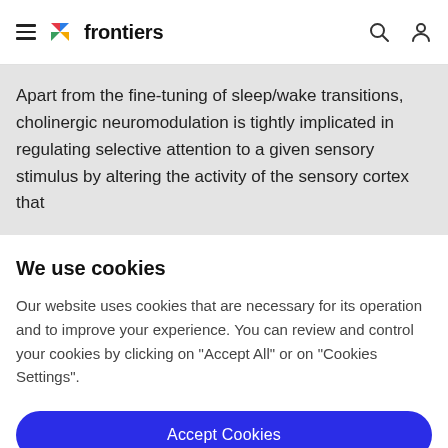frontiers
Apart from the fine-tuning of sleep/wake transitions, cholinergic neuromodulation is tightly implicated in regulating selective attention to a given sensory stimulus by altering the activity of the sensory cortex that
We use cookies
Our website uses cookies that are necessary for its operation and to improve your experience. You can review and control your cookies by clicking on "Accept All" or on "Cookies Settings".
Accept Cookies
Cookies Settings